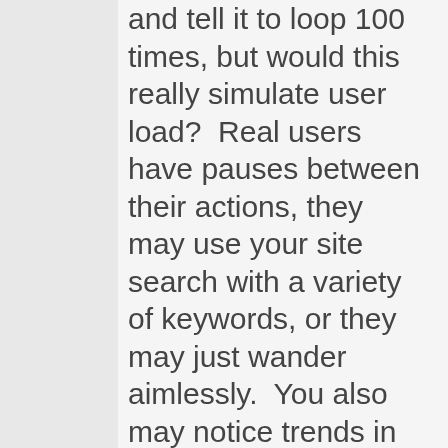and tell it to loop 100 times, but would this really simulate user load?  Real users have pauses between their actions, they may use your site search with a variety of keywords, or they may just wander aimlessly.  You also may notice trends in your log files, where you have
d werx. Sometimes I take on side projects. Contact m